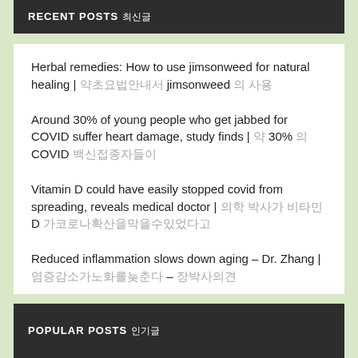RECENT POSTS 최신글
Herbal remedies: How to use jimsonweed for natural healing | 약초요법안내서 jimsonweed 의 사용
Around 30% of young people who get jabbed for COVID suffer heart damage, study finds | 약 30% 의 COVID 백신접종자들이
Vitamin D could have easily stopped covid from spreading, reveals medical doctor | 의학 박사가 비타민 D 가코로나확산을막을수있었다고
Reduced inflammation slows down aging – Dr. Zhang | 염증감소가노화를늦춘다 – 장박사의견
Vitamin B6 can help reduce anxiety and depression | 비타민 B6 가불안과우울증
POPULAR POSTS 인기글